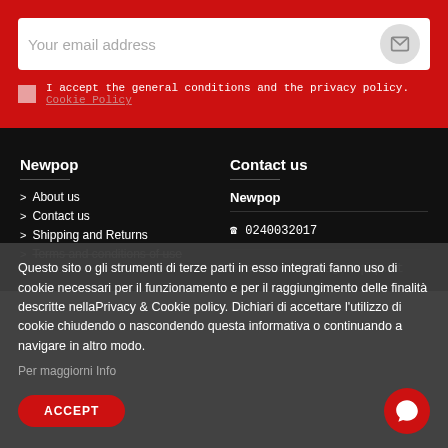Your email address
I accept the general conditions and the privacy policy. Cookie Policy
Newpop
> About us
> Contact us
> Shipping and Returns
> Terms and conditions of use
Contact us
Newpop
0240032017
customercare@newpop.it
Questo sito o gli strumenti di terze parti in esso integrati fanno uso di cookie necessari per il funzionamento e per il raggiungimento delle finalità descritte nellaPrivacy & Cookie policy. Dichiari di accettare l'utilizzo di cookie chiudendo o nascondendo questa informativa o continuando a navigare in altro modo.
Per maggiorni Info
ACCEPT